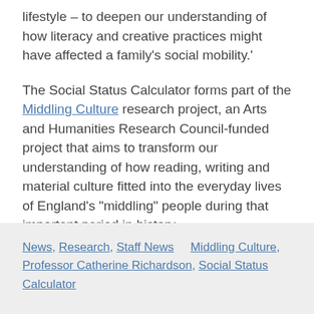lifestyle – to deepen our understanding of how literacy and creative practices might have affected a family's social mobility.'
The Social Status Calculator forms part of the Middling Culture research project, an Arts and Humanities Research Council-funded project that aims to transform our understanding of how reading, writing and material culture fitted into the everyday lives of England's "middling" people during that important period in history.
Try out the Social Status Calculator online.
News, Research, Staff News     Middling Culture, Professor Catherine Richardson, Social Status Calculator